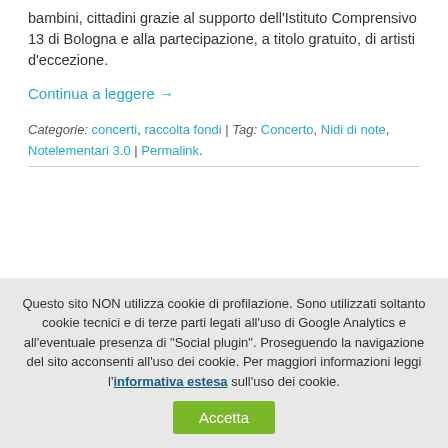bambini, cittadini grazie al supporto dell'Istituto Comprensivo 13 di Bologna e alla partecipazione, a titolo gratuito, di artisti d'eccezione.
Continua a leggere →
Categorie: concerti, raccolta fondi | Tag: Concerto, Nidi di note, Notelementari 3.0 | Permalink.
Questo sito NON utilizza cookie di profilazione. Sono utilizzati soltanto cookie tecnici e di terze parti legati all'uso di Google Analytics e all'eventuale presenza di "Social plugin". Proseguendo la navigazione del sito acconsenti all'uso dei cookie. Per maggiori informazioni leggi l'informativa estesa sull'uso dei cookie.